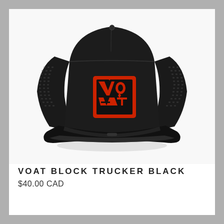[Figure (photo): Black trucker hat with a red square patch logo on the front panel that reads VOAT in stylized block letters, mesh back panels visible]
VOAT BLOCK TRUCKER BLACK
$40.00 CAD